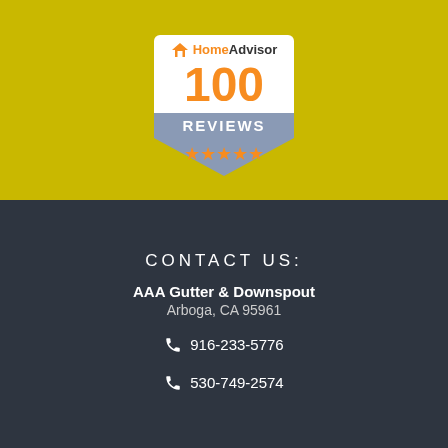[Figure (logo): HomeAdvisor 100 Reviews badge with orange stars on a grey pentagon shield, white top section with HomeAdvisor logo and large orange '100', grey lower section with 'REVIEWS' text and orange stars]
CONTACT US:
AAA Gutter & Downspout
Arboga, CA 95961
916-233-5776
530-749-2574